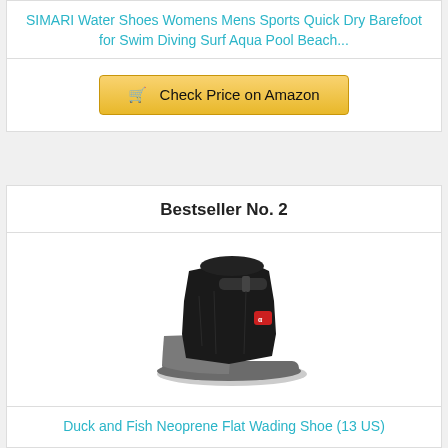SIMARI Water Shoes Womens Mens Sports Quick Dry Barefoot for Swim Diving Surf Aqua Pool Beach...
Check Price on Amazon
Bestseller No. 2
[Figure (photo): Black neoprene wading boot/shoe with gray rubber toe cap and velcro strap, Duck and Fish brand logo visible]
Duck and Fish Neoprene Flat Wading Shoe (13 US)